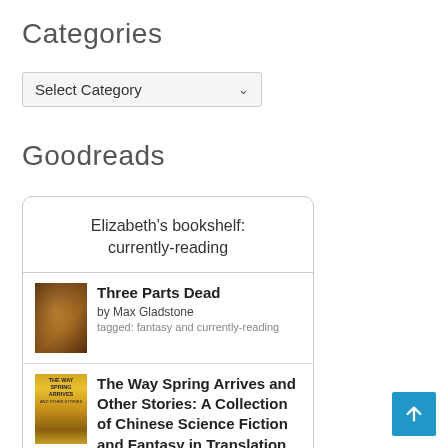Categories
[Figure (screenshot): Select Category dropdown input element]
Goodreads
[Figure (screenshot): Goodreads widget showing Elizabeth's bookshelf: currently-reading, with book entries for Three Parts Dead by Max Gladstone and The Way Spring Arrives and Other Stories: A Collection of Chinese Science Fiction and Fantasy in Translation from a Visionary]
[Figure (other): Blue scroll-to-top button with upward arrow icon]